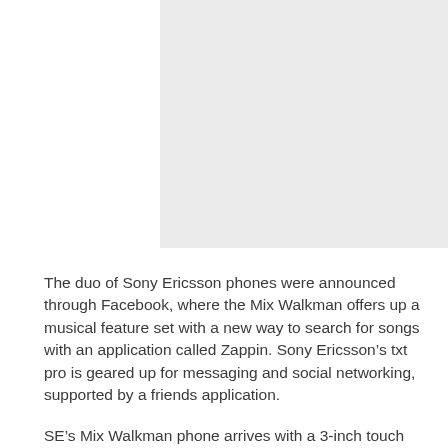[Figure (photo): Gray placeholder image block at top of page]
The duo of Sony Ericsson phones were announced through Facebook, where the Mix Walkman offers up a musical feature set with a new way to search for songs with an application called Zappin. Sony Ericsson’s txt pro is geared up for messaging and social networking, supported by a friends application.
SE’s Mix Walkman phone arrives with a 3-inch touch screen, with a Zappin key that allows the mobile owner to preview the chorus of the next track and another app that lowers the vocal track being played,